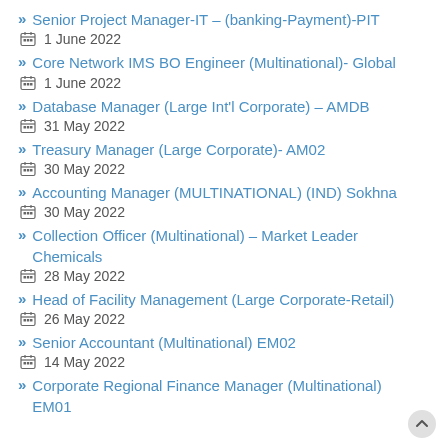Senior Project Manager-IT – (banking-Payment)-PIT
1 June 2022
Core Network IMS BO Engineer (Multinational)- Global
1 June 2022
Database Manager (Large Int'l Corporate) – AMDB
31 May 2022
Treasury Manager (Large Corporate)- AM02
30 May 2022
Accounting Manager (MULTINATIONAL) (IND) Sokhna
30 May 2022
Collection Officer (Multinational) – Market Leader Chemicals
28 May 2022
Head of Facility Management (Large Corporate-Retail)
26 May 2022
Senior Accountant (Multinational) EM02
14 May 2022
Corporate Regional Finance Manager (Multinational) EM01